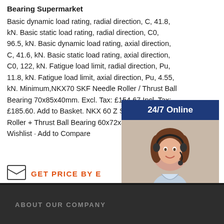Bearing Supermarket
Basic dynamic load rating, radial direction, C, 41.8, kN. Basic static load rating, radial direction, C0, 96.5, kN. Basic dynamic load rating, axial direction, C, 41.6, kN. Basic static load rating, axial direction, C0, 122, kN. Fatigue load limit, radial direction, Pu, 11.8, kN. Fatigue load limit, axial direction, Pu, 4.55, kN. Minimum,NKX70 SKF Needle Roller / Thrust Ball Bearing 70x85x40mm. Excl. Tax: £154.67 Incl. Tax: £185.60. Add to Basket. NKX 60 Z SKF Needle Roller + Thrust Ball Bearing 60x72x40 (mm). Add to Wishlist · Add to Compare
[Figure (infographic): Customer service widget with '24/7 Online' header in dark blue, photo of a smiling woman with headset, 'Have any requests, click here.' text in dark blue, and 'Quotation' button in orange]
GET PRICE BY E
ABOUT OUR COMPANY